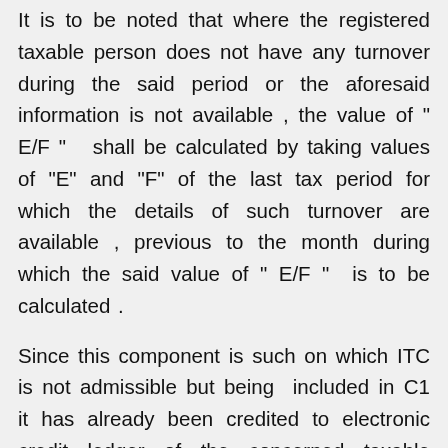It is to be noted that where the registered taxable person does not have any turnover during the said period or the aforesaid information is not available , the value of " E/F " shall be calculated by taking values of “E” and “F” of the last tax period for which the details of such turnover are available , previous to the month during which the said value of " E/F " is to be calculated .
Since this component is such on which ITC is not admissible but being included in C1 it has already been credited to electronic credit ledger of the concerned taxable person thus